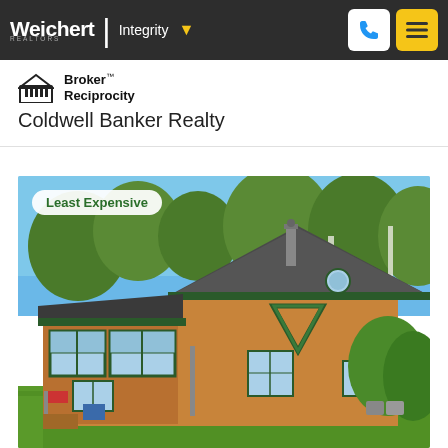Weichert | Integrity
[Figure (logo): Broker Reciprocity logo with house icon]
Coldwell Banker Realty
[Figure (photo): Exterior photo of a wooden cabin-style house with green trim, large windows, A-frame roof, surrounded by trees and green grass on a sunny day. Badge reads: Least Expensive]